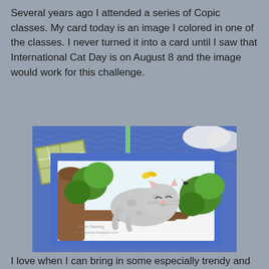Several years ago I attended a series of Copic classes. My card today is an image I colored in one of the classes. I never turned it into a card until I saw that International Cat Day is on August 8 and the image would work for this challenge.
[Figure (photo): A handmade card featuring a Copic-colored illustration of a fluffy gray cat lounging contentedly on a tree branch, surrounded by green foliage and a butterfly. The card has a blue border with decorative patterned paper in blue wave and plaid patterns in the background.]
I love when I can bring in some especially trendy and...